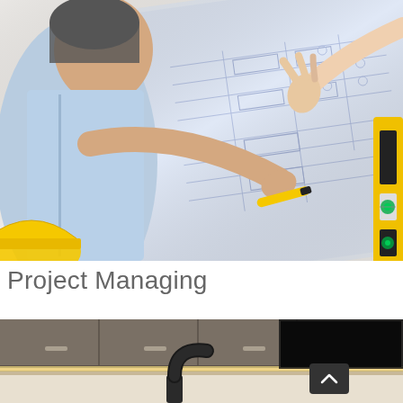[Figure (photo): Overhead view of two people reviewing architectural or engineering blueprints/schematics on a table. A yellow hard hat is visible on the left, along with a yellow marker and what appears to be a spirit level on the right side. One person holds a marker and points at the drawings.]
Project Managing
[Figure (photo): Interior kitchen scene showing modern cabinetry with under-cabinet lighting, a dark curved faucet in the foreground, and what appears to be stainless steel or dark cabinet fronts with handles. A dark navigation arrow button is visible overlaid on the image.]